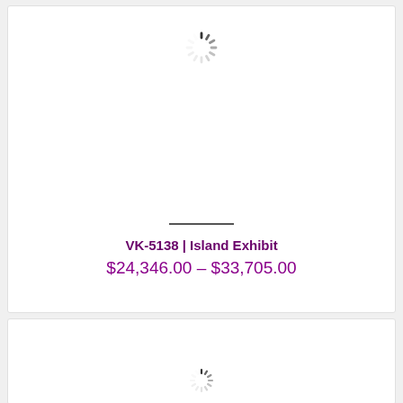[Figure (other): Loading spinner icon (radial dashes) at top of product card]
VK-5138 | Island Exhibit
$24,346.00 – $33,705.00
[Figure (other): Loading spinner icon (radial dashes) at top of second product card]